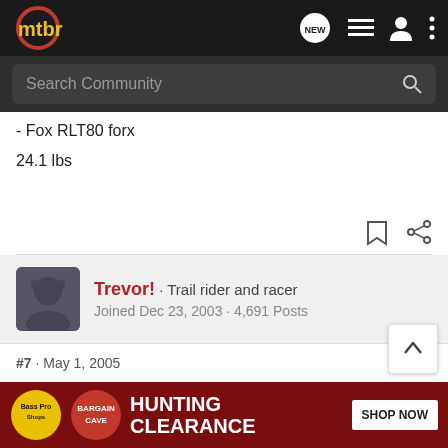mtbr navigation bar with search
- Fox RLT80 forx
24.1 lbs
Trevor! · Trail rider and racer
Joined Dec 23, 2003 · 4,691 Posts
#7 · May 1, 2005
Ellsworth Truth
24.5 to 25lbs depending on...
[Figure (screenshot): Bass Pro Shops Hunting Bargain Cave Clearance ad banner with SHOP NOW button]